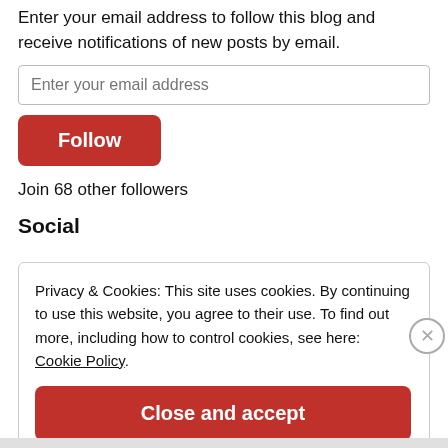Enter your email address to follow this blog and receive notifications of new posts by email.
Enter your email address
Follow
Join 68 other followers
Social
Privacy & Cookies: This site uses cookies. By continuing to use this website, you agree to their use. To find out more, including how to control cookies, see here: Cookie Policy
Close and accept